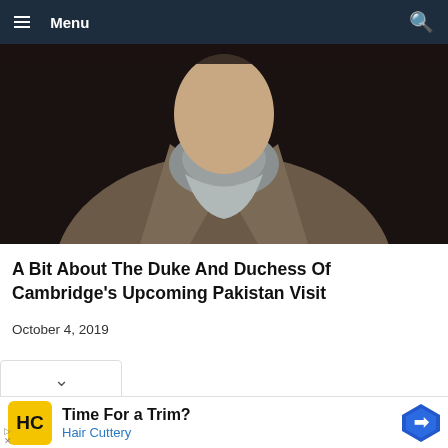Menu
[Figure (photo): Close-up photo of a person wearing a grey coat and knit scarf, dark background]
A Bit About The Duke And Duchess Of Cambridge's Upcoming Pakistan Visit
October 4, 2019
[Figure (screenshot): Advertisement: Time For a Trim? Hair Cuttery, with yellow HC logo and blue navigation icon]